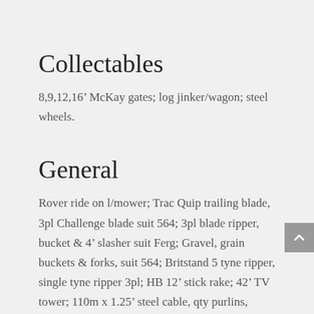Collectables
8,9,12,16’ McKay gates; log jinker/wagon; steel wheels.
General
Rover ride on l/mower; Trac Quip trailing blade, 3pl Challenge blade suit 564; 3pl blade ripper, bucket & 4’ slasher suit Ferg; Gravel, grain buckets & forks, suit 564; Britstand 5 tyne ripper, single tyne ripper 3pl; HB 12’ stick rake; 42’ TV tower; 110m x 1.25’ steel cable, qty purlins, timber, steel posts, gates, workshop sundries.